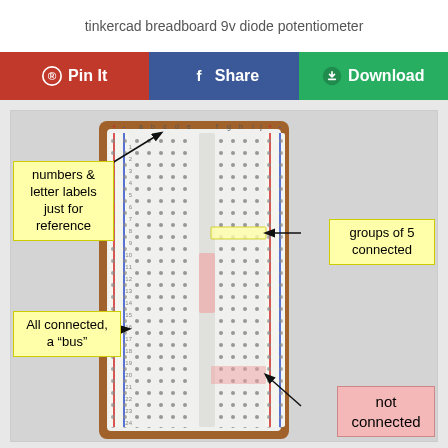tinkercad breadboard 9v diode potentiometer
[Figure (screenshot): Screenshot of a webpage with share buttons (Pin It, Share, Download) and a photo of a breadboard annotated with labels: 'numbers & letter labels just for reference', 'groups of 5 connected', 'All connected, a "bus"', and 'not connected']
numbers & letter labels just for reference
groups of 5 connected
All connected, a "bus"
not connected